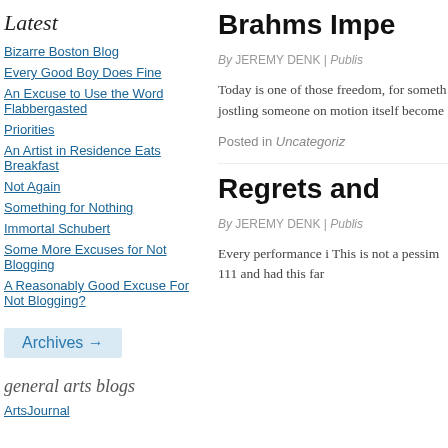Latest
Bizarre Boston Blog
Every Good Boy Does Fine
An Excuse to Use the Word Flabbergasted
Priorities
An Artist in Residence Eats Breakfast
Not Again
Something for Nothing
Immortal Schubert
Some More Excuses for Not Blogging
A Reasonably Good Excuse For Not Blogging?
Archives →
general arts blogs
ArtsJournal
Brahms Impe
By JEREMY DENK | Publis
Today is one of those freedom, for someth jostling someone on motion itself become
Posted in Uncategoriz
Regrets and
By JEREMY DENK | Publis
Every performance i This is not a pessim 111 and had this far